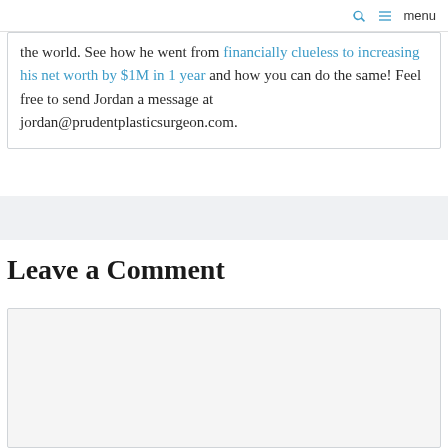search menu
the world. See how he went from financially clueless to increasing his net worth by $1M in 1 year and how you can do the same! Feel free to send Jordan a message at jordan@prudentplasticsurgeon.com.
Leave a Comment